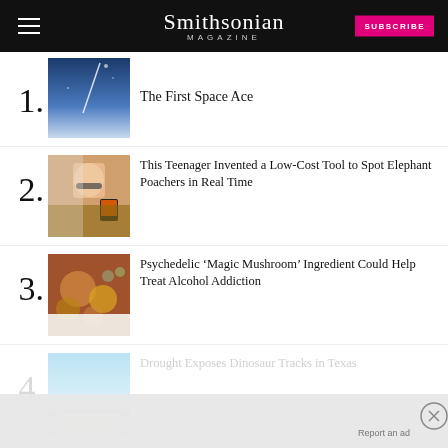Smithsonian Magazine
The First Space Ace
This Teenager Invented a Low-Cost Tool to Spot Elephant Poachers in Real Time
Psychedelic ‘Magic Mushroom’ Ingredient Could Help Treat Alcohol Addiction
Drought Exposes Dinosaur Tracks in Texas
The 50-Million-Year-Old Treasure of...